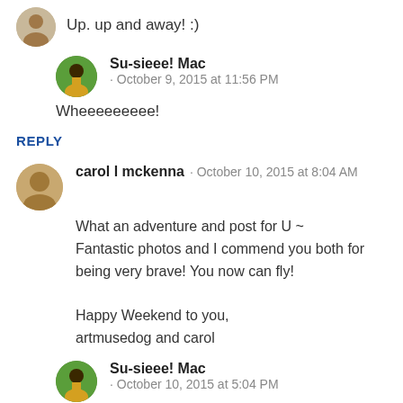Up. up and away! :)
Su-sieee! Mac · October 9, 2015 at 11:56 PM
Wheeeeeeeee!
REPLY
carol l mckenna · October 10, 2015 at 8:04 AM
What an adventure and post for U ~ Fantastic photos and I commend you both for being very brave! You now can fly!

Happy Weekend to you,
artmusedog and carol
Su-sieee! Mac · October 10, 2015 at 5:04 PM
I wouldn't mind having the ability to